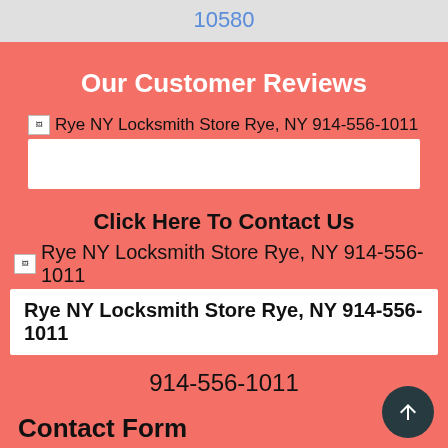10580
Our Customer Reviews
[Figure (other): Broken image placeholder with alt text: Rye NY Locksmith Store Rye, NY 914-556-1011]
[Figure (other): White rectangular bar (image placeholder area)]
Click Here To Contact Us
[Figure (other): Broken image placeholder with alt text: Rye NY Locksmith Store Rye, NY 914-556-1011]
Rye NY Locksmith Store Rye, NY 914-556-1011
914-556-1011
Contact Form
Simply fill the form below
Name